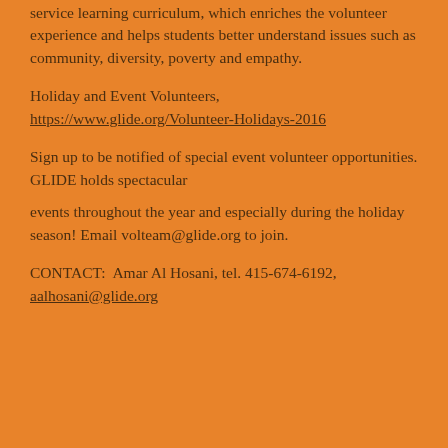service learning curriculum, which enriches the volunteer experience and helps students better understand issues such as community, diversity, poverty and empathy.
Holiday and Event Volunteers, https://www.glide.org/Volunteer-Holidays-2016
Sign up to be notified of special event volunteer opportunities. GLIDE holds spectacular
events throughout the year and especially during the holiday season! Email volteam@glide.org to join.
CONTACT:  Amar Al Hosani, tel. 415-674-6192, aalhosani@glide.org